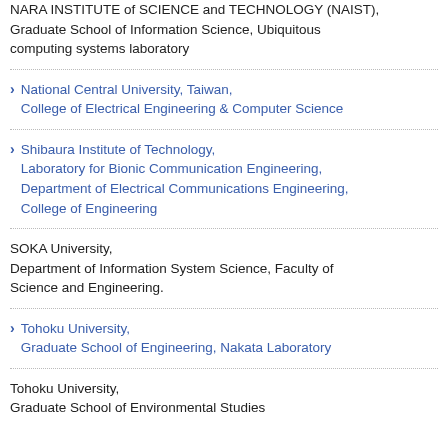NARA INSTITUTE of SCIENCE and TECHNOLOGY (NAIST), Graduate School of Information Science, Ubiquitous computing systems laboratory
National Central University, Taiwan, College of Electrical Engineering & Computer Science
Shibaura Institute of Technology, Laboratory for Bionic Communication Engineering, Department of Electrical Communications Engineering, College of Engineering
SOKA University, Department of Information System Science, Faculty of Science and Engineering.
Tohoku University, Graduate School of Engineering, Nakata Laboratory
Tohoku University, Graduate School of Environmental Studies